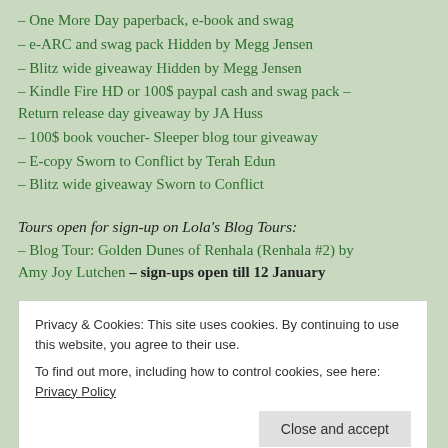– One More Day paperback, e-book and swag
– e-ARC and swag pack Hidden by Megg Jensen
– Blitz wide giveaway Hidden by Megg Jensen
– Kindle Fire HD or 100$ paypal cash and swag pack – Return release day giveaway by JA Huss
– 100$ book voucher- Sleeper blog tour giveaway
– E-copy Sworn to Conflict by Terah Edun
– Blitz wide giveaway Sworn to Conflict
Tours open for sign-up on Lola's Blog Tours:
– Blog Tour: Golden Dunes of Renhala (Renhala #2) by Amy Joy Lutchen – sign-ups open till 12 January
Privacy & Cookies: This site uses cookies. By continuing to use this website, you agree to their use. To find out more, including how to control cookies, see here: Privacy Policy
till 19 January